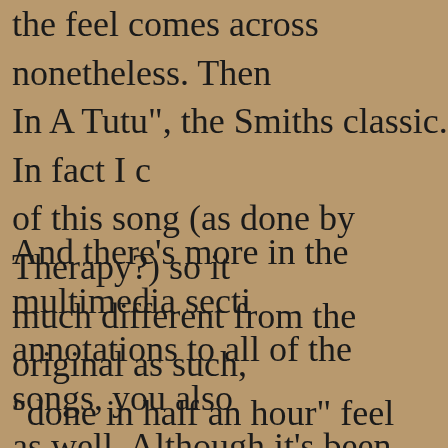the feel comes across nonetheless. Then In A Tutu", the Smiths classic. In fact I of this song (as done by Therapy?) so it much different from the original as such, "done in half an hour" feel that makes it
And there's more in the multimedia secti annotations to all of the songs, you also as well. Although it's been online for a c Quicktime version here is much much be and very watchable. A worthwhile additi "Hey Hey 64K", a reworking of "Hey He related lyrics instead. It only got to demo lyrics explain just what happened to that